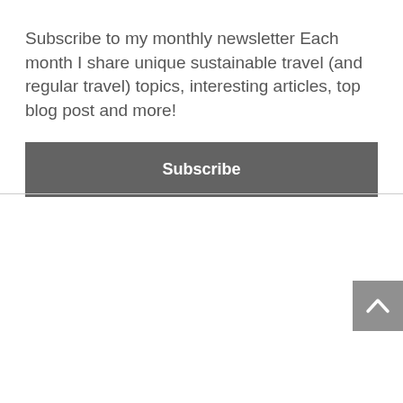Subscribe to my monthly newsletter Each month I share unique sustainable travel (and regular travel) topics, interesting articles, top blog post and more!
Subscribe